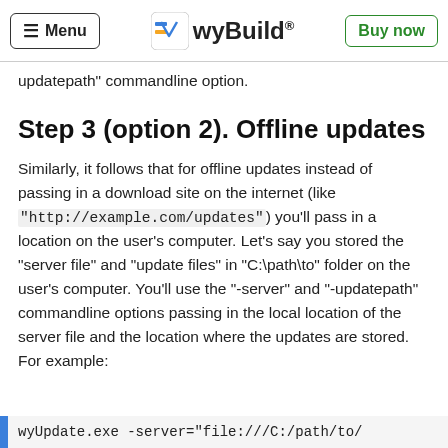wyBuild — Menu | Buy now
updatepath" commandline option.
Step 3 (option 2). Offline updates
Similarly, it follows that for offline updates instead of passing in a download site on the internet (like "http://example.com/updates") you'll pass in a location on the user's computer. Let's say you stored the "server file" and "update files" in "C:\path\to" folder on the user's computer. You'll use the "-server" and "-updatepath" commandline options passing in the local location of the server file and the location where the updates are stored. For example:
wyUpdate.exe -server="file:///C:/path/to/